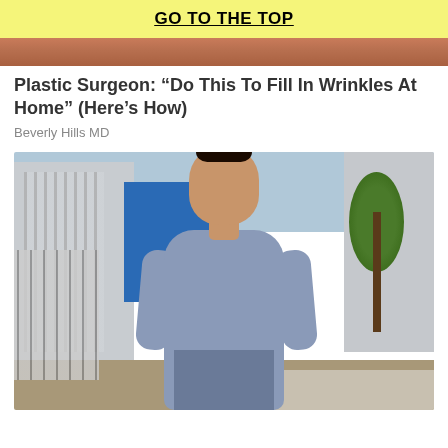GO TO THE TOP
[Figure (photo): Cropped top of a photo showing a brown/terracotta background, partial view of a person or surface]
Plastic Surgeon: “Do This To Fill In Wrinkles At Home” (Here’s How)
Beverly Hills MD
[Figure (photo): A smiling young woman with dark hair styled up in a bun, wearing a light blue/grey fitted short-sleeve top, standing outdoors on a sidewalk with a building facade with vertical slats on the left, a blue panel in the background, and a large tree on the right side]